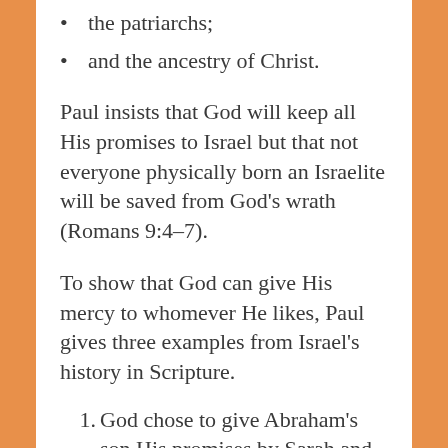the patriarchs;
and the ancestry of Christ.
Paul insists that God will keep all His promises to Israel but that not everyone physically born an Israelite will be saved from God's wrath (Romans 9:4–7).
To show that God can give His mercy to whomever He likes, Paul gives three examples from Israel's history in Scripture.
God chose to give Abraham's son His promises by Sarah and not by any of his other wives.
God chose to give the promises to one of Rebekah's twin sons and not the other before